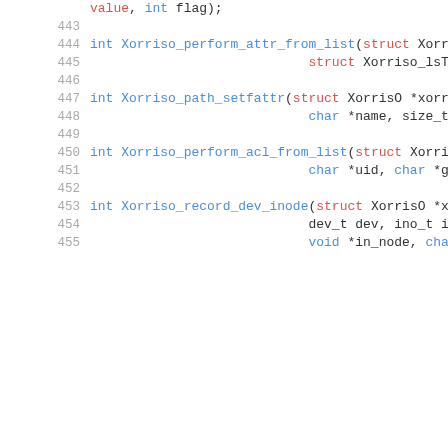Code listing lines 443-455 showing C function declarations for Xorriso functions: Xorriso_perform_attr_from_list, Xorriso_path_setfattr, Xorriso_perform_acl_from_list, Xorriso_record_dev_inode